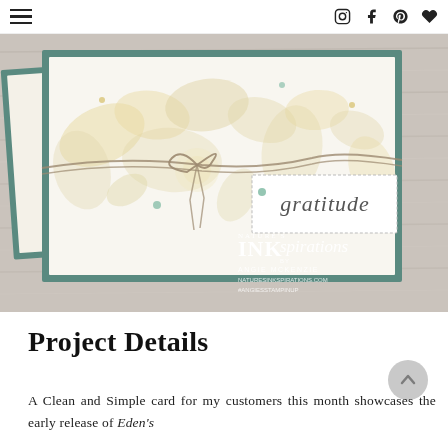Navigation header with hamburger menu and social icons (Instagram, Facebook, Pinterest, Heart)
[Figure (photo): Photograph of two handmade greeting cards on a wood surface. Cards feature watercolor floral/leaf designs in muted gold and cream tones on a teal/green card base, with twine bow and a white label reading 'gratitude' in script. Watermark: Nature's INKspirations by Angie McKenzie, naturesINKspirations.com, #angiesstampinup]
Project Details
A Clean and Simple card for my customers this month showcases the early release of Eden's